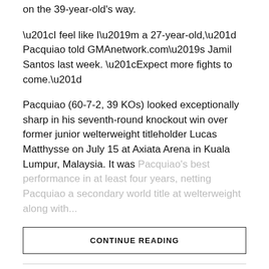on the 39-year-old's way.
“I feel like I’m a 27-year-old,” Pacquiao told GMAnetwork.com’s Jamil Santos last week. “Expect more fights to come.”
Pacquiao (60-7-2, 39 KOs) looked exceptionally sharp in his seventh-round knockout win over former junior welterweight titleholder Lucas Matthysse on July 15 at Axiata Arena in Kuala Lumpur, Malaysia. It was Pacquiao’s best performance in at least four years, netting Pacquiao a secondary world title at welterweight along with...
CONTINUE READING
ADVERTISEMENT
POPULAR   LATEST